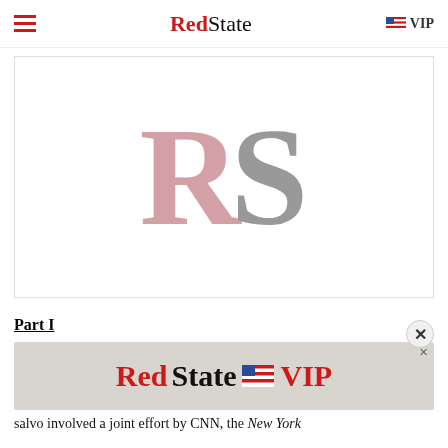RedState | VIP
[Figure (logo): RedState RS logo — large serif R in dusty rose/pink and S in gray]
Part I
[Figure (screenshot): RedState VIP advertisement banner with close button]
salvo involved a joint effort by CNN, the New York